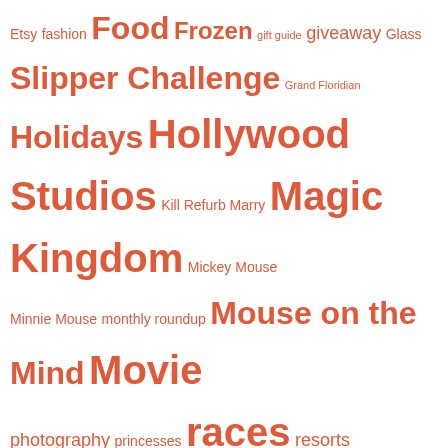Etsy fashion Food Frozen gift guide giveaway Glass Slipper Challenge Grand Floridian Holidays Hollywood Studios Kill Refurb Marry Magic Kingdom Mickey Mouse Minnie Mouse monthly roundup Mouse on the Mind Movie photography princesses races resorts Restaurant Review rides running Running Gear Guide Star Wars Stitch Fix subscription boxes The Lion King The Little Mermaid thoughts tournament Tower of Terror 10 miler training Wordless Wednesday
[Figure (photo): Horizontal photo strip showing a blurred theme park scene]
Privacy & Cookies: This site uses cookies. By continuing to use this website, you agree to their use.
To find out more, including how to control cookies, see here: Cookie Policy
Close and accept